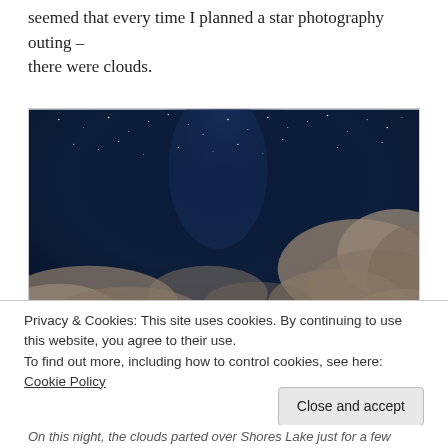Despite the fact that Arkanada River Valley had had a dry year, it seemed that every time I planned a star photography outing – there were clouds.
[Figure (photo): Night sky photograph showing stars and the Milky Way partially obscured by clouds, dark blue tones]
Privacy & Cookies: This site uses cookies. By continuing to use this website, you agree to their use.
To find out more, including how to control cookies, see here: Cookie Policy
Close and accept
On this night, the clouds parted over Shores Lake just for a few minutes, and